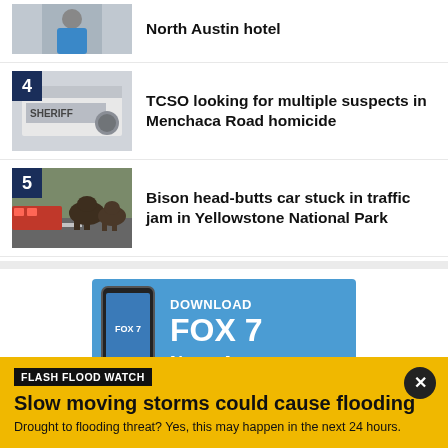[Figure (photo): Partial view of news item 3 thumbnail - person in blue shirt]
North Austin hotel
[Figure (photo): Sheriff car door with badge, item 4]
4 TCSO looking for multiple suspects in Menchaca Road homicide
[Figure (photo): Bison near cars on road, item 5]
5 Bison head-butts car stuck in traffic jam in Yellowstone National Park
[Figure (screenshot): Download FOX 7 News App advertisement banner with phone mockup]
FLASH FLOOD WATCH
Slow moving storms could cause flooding
Drought to flooding threat? Yes, this may happen in the next 24 hours.